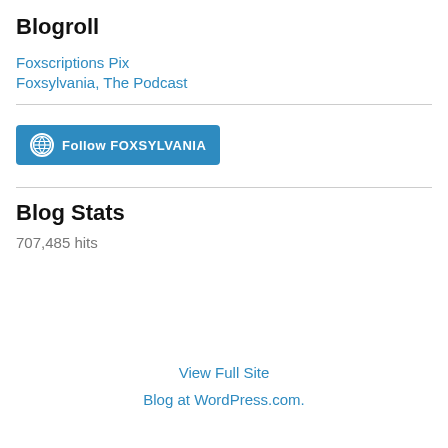Blogroll
Foxscriptions Pix
Foxsylvania, The Podcast
[Figure (other): Follow FOXSYLVANIA button with WordPress logo]
Blog Stats
707,485 hits
View Full Site
Blog at WordPress.com.